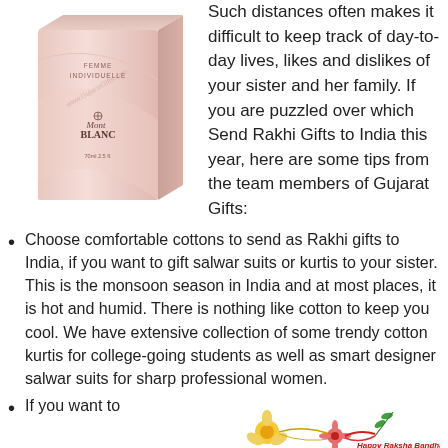[Figure (photo): Mont Blanc Femme Individuelle perfume box in light pink/rose color with www.GujaratGifts.com watermark]
Such distances often makes it difficult to keep track of day-to-day lives, likes and dislikes of your sister and her family. If you are puzzled over which Send Rakhi Gifts to India this year, here are some tips from the team members of Gujarat Gifts:
Choose comfortable cottons to send as Rakhi gifts to India, if you want to gift salwar suits or kurtis to your sister. This is the monsoon season in India and at most places, it is hot and humid. There is nothing like cotton to keep you cool. We have extensive collection of some trendy cotton kurtis for college-going students as well as smart designer salwar suits for sharp professional women.
If you want to
[Figure (illustration): Decorative Rakhi illustration with flowers and ribbons, with text 'Happy Raksha Bandhan 2nd Aug, 2012' in red]